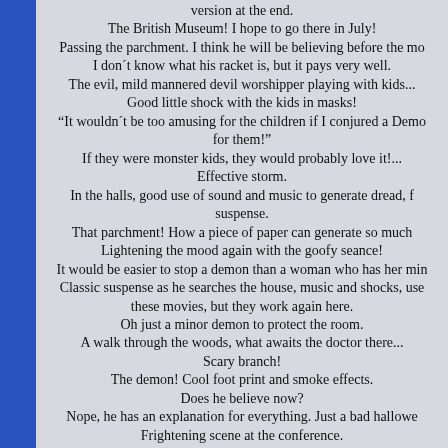version at the end.
The British Museum! I hope to go there in July!
Passing the parchment. I think he will be believing before the mo...
I don´t know what his racket is, but it pays very well.
The evil, mild mannered devil worshipper playing with kids...
Good little shock with the kids in masks!
"It wouldn´t be too amusing for the children if I conjured a Demo... for them!"
If they were monster kids, they would probably love it!...
Effective storm.
In the halls, good use of sound and music to generate dread, f... suspense.
That parchment! How a piece of paper can generate so much...
Lightening the mood again with the goofy seance!
It would be easier to stop a demon than a woman who has her min...
Classic suspense as he searches the house, music and shocks, use... these movies, but they work again here.
Oh just a minor demon to protect the room.
A walk through the woods, what awaits the doctor there...
Scary branch!
The demon! Cool foot print and smoke effects.
Does he believe now?
Nope, he has an explanation for everything. Just a bad hallowe...
Frightening scene at the conference.
Classic ending! I am going to sit back and enjoy this...